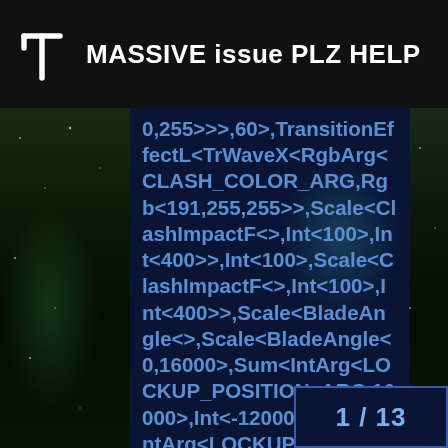MASSIVE issue PLZ HELP
0,255>>>,60>,TransitionEffectL<TrWaveX<RgbArg<CLASH_COLOR_ARG,Rgb<191,255,255>>,Scale<ClashImpactF<>,Int<100>,Int<400>>,Int<100>,Scale<ClashImpactF<>,Int<100>,Int<400>>,Scale<BladeAngle<>,Scale<BladeAngle<0,16000>,Sum<IntArg<LOCKUP_POSITION_ARG,16000>,Int<-12000>>,Sum<IntArg<LOCKUP_POSITION_ARG,16000>,Int<10000>>>,Sum<IntArg<LOCKUP_POSITION_ARG,16000>,Int<-10000>>>>,EFFECT_CLASH>,LockupTrL<AlphaMixL<Bump<Scale<BladeAngle<>,Scale<BladeAngle<0,16000>,Sum<IntArg<LOCKUP_POSITION_ARG,16000>,Int<-12000>>,Sum<IntArg<LOCKUP_POSITION_ARG,16000>,Int<10000>>>,Scale<SwingSpeed<100>,Int<14000>,Int<18000>>>,AudioFlickerL<RgbArg<LOCKUP_COLOR_ARG,Rgb<191,255,255>>>,BrownNoiseFL<OCKUP_COLOR_ARG,Rgb<
1 / 13